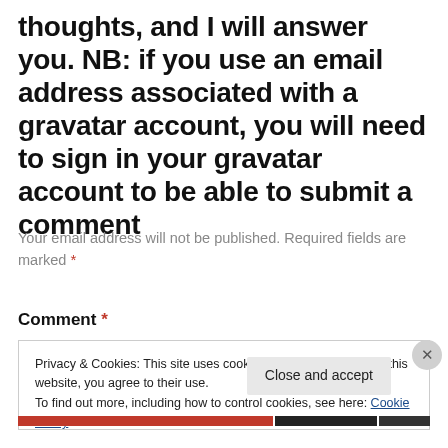thoughts, and I will answer you. NB: if you use an email address associated with a gravatar account, you will need to sign in your gravatar account to be able to submit a comment
Your email address will not be published. Required fields are marked *
Comment *
Privacy & Cookies: This site uses cookies. By continuing to use this website, you agree to their use. To find out more, including how to control cookies, see here: Cookie Policy
Close and accept